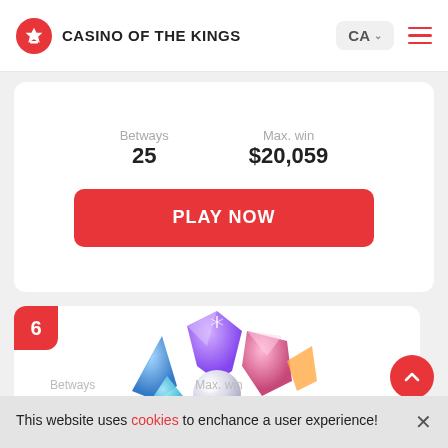CASINO OF THE KINGS
Betways
25
Max. win
$20,059
PLAY NOW
[Figure (illustration): Starburst slot game logo with colorful crystal star gems and the text STARBURST, ranked #6]
This website uses cookies to enchance a user experience!